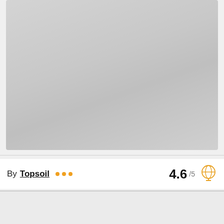[Figure (photo): Large gray placeholder image area at the top of a product/content card]
By Topsoil ••• 4.6 /5
[Figure (illustration): Orange globe icon on the right side of the info row]